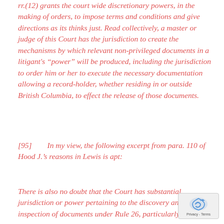rr.(12) grants the court wide discretionary powers, in the making of orders, to impose terms and conditions and give directions as its thinks just. Read collectively, a master or judge of this Court has the jurisdiction to create the mechanisms by which relevant non-privileged documents in a litigant's “power” will be produced, including the jurisdiction to order him or her to execute the necessary documentation allowing a record-holder, whether residing in or outside British Columbia, to effect the release of those documents.
[95]        In my view, the following excerpt from para. 110 of Hood J.’s reasons in Lewis is apt:
There is also no doubt that the Court has substantial jurisdiction or power pertaining to the discovery and inspection of documents under Rule 26, particularly the